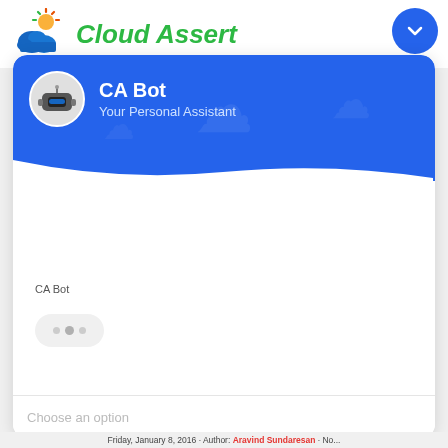[Figure (screenshot): Cloud Assert chatbot widget UI screenshot showing a blue header with CA Bot robot avatar, 'CA Bot' title and 'Your Personal Assistant' subtitle, a white chat body area with typing indicator dots, and a 'Choose an option' input placeholder at bottom.]
Cloud Assert
CA Bot
Your Personal Assistant
CA Bot
Choose an option
Friday, January 8, 2016 · Author: Aravind Sundaresan · No...